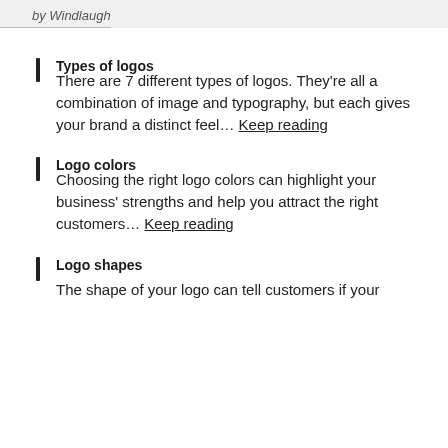by Windlaugh
Types of logos
There are 7 different types of logos. They're all a combination of image and typography, but each gives your brand a distinct feel… Keep reading
Logo colors
Choosing the right logo colors can highlight your business' strengths and help you attract the right customers… Keep reading
Logo shapes
The shape of your logo can tell customers if your